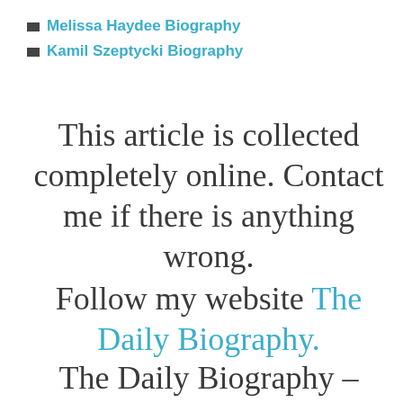Melissa Haydee Biography
Kamil Szeptycki Biography
This article is collected completely online. Contact me if there is anything wrong.
Follow my website The Daily Biography.
The Daily Biography – Biography of Trending